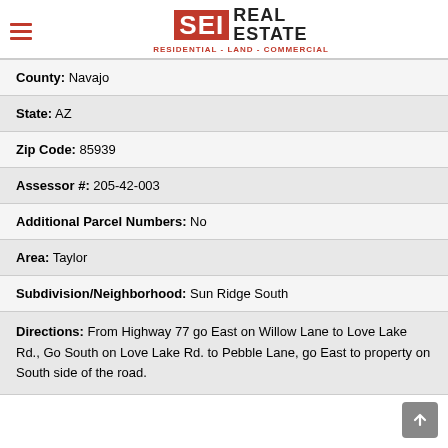SEI REAL ESTATE – RESIDENTIAL - LAND - COMMERCIAL
| County: | Navajo |
| State: | AZ |
| Zip Code: | 85939 |
| Assessor #: | 205-42-003 |
| Additional Parcel Numbers: | No |
| Area: | Taylor |
| Subdivision/Neighborhood: | Sun Ridge South |
| Directions: | From Highway 77 go East on Willow Lane to Love Lake Rd., Go South on Love Lake Rd. to Pebble Lane, go East to property on South side of the road. |